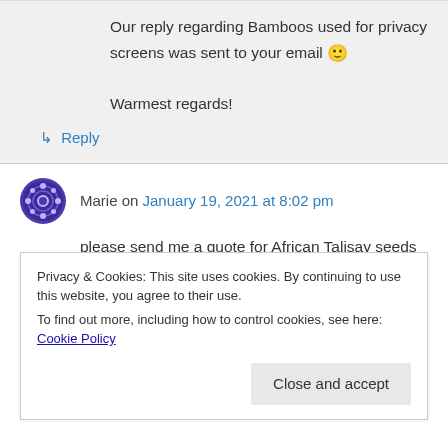Our reply regarding Bamboos used for privacy screens was sent to your email 🙂
Warmest regards!
↳ Reply
Marie on January 19, 2021 at 8:02 pm
please send me a quote for African Talisay seeds or small tree
Privacy & Cookies: This site uses cookies. By continuing to use this website, you agree to their use.
To find out more, including how to control cookies, see here: Cookie Policy
Close and accept